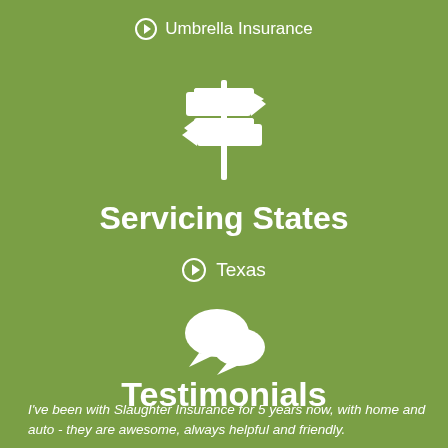⊙ Umbrella Insurance
[Figure (illustration): White signpost/directional signs icon on green background]
Servicing States
⊙ Texas
[Figure (illustration): White speech bubbles / chat icon on green background]
Testimonials
I've been with Slaughter Insurance for 5 years now, with home and auto - they are awesome, always helpful and friendly.